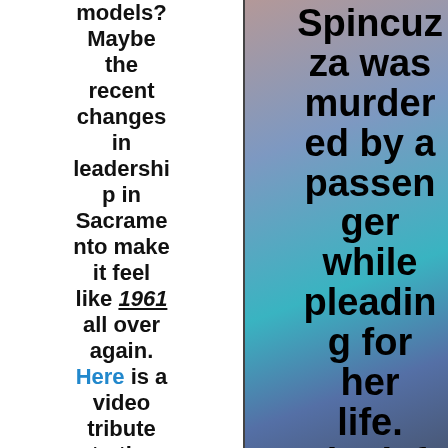models? Maybe the recent changes in leadership in Sacramento make it feel like 1961 all over again. Here is a video tribute to the combine
[Figure (photo): A blurred colorful photo (blues, purples, pinks) forming the background behind bold text reading: Spincuzza was murdered by a passenger while pleading for her life. She left behind 4 children.]
Spincuzza was murdered by a passenger while pleading for her life. She left behind 4 children.